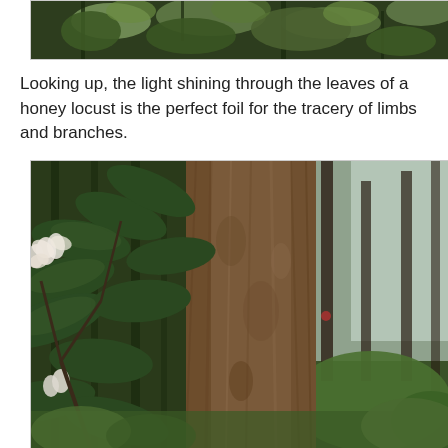[Figure (photo): Top portion of a photo showing tree canopy with green leaves viewed from below, dark branches against bright sky]
Looking up, the light shining through the leaves of a honey locust is the perfect foil for the tracery of limbs and branches.
[Figure (photo): Close-up photo of rhododendron shrub with large dark green leaves and white/pink blooms next to a large rough-barked tree trunk, with green forest understory in background]